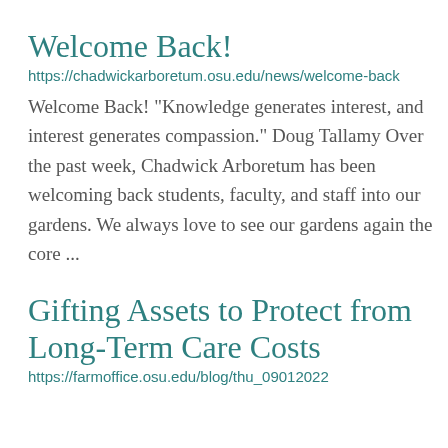Welcome Back!
https://chadwickarboretum.osu.edu/news/welcome-back
Welcome Back!  “Knowledge generates interest, and interest generates compassion.” Doug Tallamy Over the past week, Chadwick Arboretum has been welcoming back students, faculty, and staff into our gardens.  We always love to see our gardens again the core ...
Gifting Assets to Protect from Long-Term Care Costs
https://farmoffice.osu.edu/blog/thu_09012022